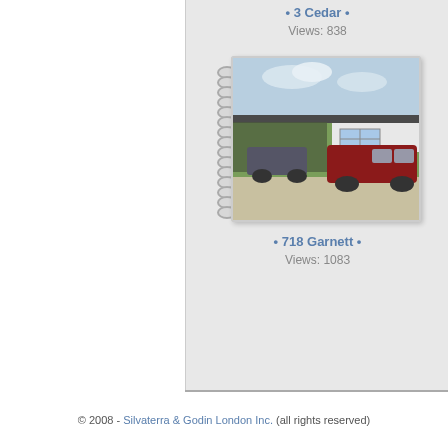• 3 Cedar •
Views: 838
[Figure (photo): Exterior photo of a house at 718 Garnett, showing a green single-story mobile/manufactured home with a red minivan parked in the driveway, displayed in a spiral notebook style frame]
• 718 Garnett •
Views: 1083
© 2008 - Silvaterra & Godin London Inc. (all rights reserved)